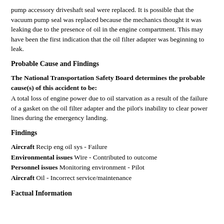pump accessory driveshaft seal were replaced. It is possible that the vacuum pump seal was replaced because the mechanics thought it was leaking due to the presence of oil in the engine compartment. This may have been the first indication that the oil filter adapter was beginning to leak.
Probable Cause and Findings
The National Transportation Safety Board determines the probable cause(s) of this accident to be: A total loss of engine power due to oil starvation as a result of the failure of a gasket on the oil filter adapter and the pilot's inability to clear power lines during the emergency landing.
Findings
Aircraft Recip eng oil sys - Failure
Environmental issues Wire - Contributed to outcome
Personnel issues Monitoring environment - Pilot
Aircraft Oil - Incorrect service/maintenance
Factual Information